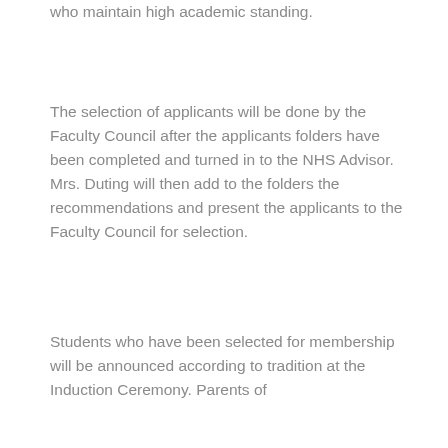who maintain high academic standing.
The selection of applicants will be done by the Faculty Council after the applicants folders have been completed and turned in to the NHS Advisor. Mrs. Duting will then add to the folders the recommendations and present the applicants to the Faculty Council for selection.
Students who have been selected for membership will be announced according to tradition at the Induction Ceremony. Parents of